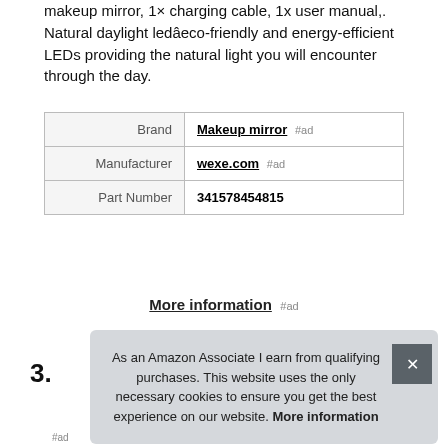makeup mirror, 1× charging cable, 1x user manual,. Natural daylight led eco-friendly and energy-efficient LEDs providing the natural light you will encounter through the day.
|  |  |
| --- | --- |
| Brand | Makeup mirror #ad |
| Manufacturer | wexe.com #ad |
| Part Number | 341578454815 |
More information #ad
3.
As an Amazon Associate I earn from qualifying purchases. This website uses the only necessary cookies to ensure you get the best experience on our website. More information